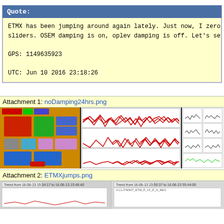Quote: ETMX has been jumping around again lately. Just now, I zero sliders. OSEM damping is on, oplev damping is off. Let's se GPS: 1149635923 UTC: Jun 10 2016 23:18:26
Attachment 1: noDamping24hrs.png
[Figure (screenshot): Screenshot showing OSEM/oplev monitoring interface with multiple time-series plots of red waveforms and scatter plots]
Attachment 2: ETMXjumps.png
[Figure (screenshot): Screenshot showing ETMX jump time-series plots]